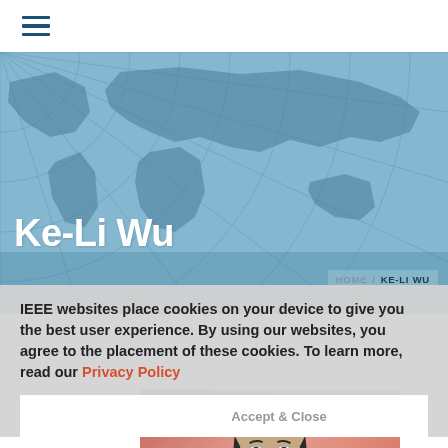[Figure (screenshot): Hamburger menu icon with three horizontal dark blue lines]
[Figure (illustration): Light blue hero banner with world map grid/globe background illustration]
Ke-Li Wu
HOME / KE-LI WU
IEEE websites place cookies on your device to give you the best user experience. By using our websites, you agree to the placement of these cookies. To learn more, read our Privacy Policy
Accept & Close
[Figure (photo): Portrait photo of Ke-Li Wu, a man with glasses, dark hair, wearing dark suit, on reddish-pink background]